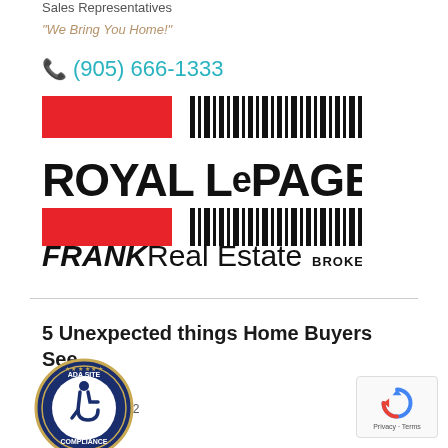Sales Representatives
"We Bring You Home!"
(905) 666-1333
[Figure (logo): Royal LePage Frank Real Estate Brokerage logo with red barcode-style graphic elements and bold black text]
5 Unexpected things Home Buyers See
April 2022
[Figure (logo): ADA Site Compliance accessibility badge - circular seal with wheelchair icon]
[Figure (other): reCAPTCHA widget with Privacy and Terms links]